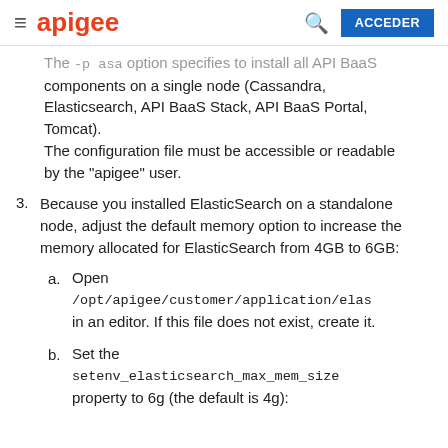apigee | ACCEDER
The -p asa option specifies to install all API BaaS components on a single node (Cassandra, Elasticsearch, API BaaS Stack, API BaaS Portal, Tomcat). The configuration file must be accessible or readable by the "apigee" user.
3. Because you installed ElasticSearch on a standalone node, adjust the default memory option to increase the memory allocated for ElasticSearch from 4GB to 6GB:
a. Open /opt/apigee/customer/application/elas in an editor. If this file does not exist, create it.
b. Set the setenv_elasticsearch_max_mem_size property to 6g (the default is 4g):